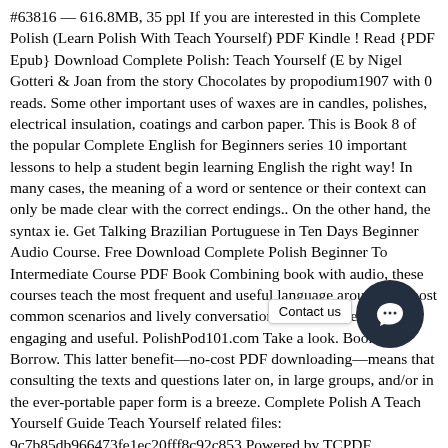#63816 — 616.8MB, 35 ppl If you are interested in this Complete Polish (Learn Polish With Teach Yourself) PDF Kindle ! Read {PDF Epub} Download Complete Polish: Teach Yourself (E by Nigel Gotteri & Joan from the story Chocolates by propodium1907 with 0 reads. Some other important uses of waxes are in candles, polishes, electrical insulation, coatings and carbon paper. This is Book 8 of the popular Complete English for Beginners series 10 important lessons to help a student begin learning English the right way! In many cases, the meaning of a word or sentence or their context can only be made clear with the correct endings.. On the other hand, the syntax ie. Get Talking Brazilian Portuguese in Ten Days Beginner Audio Course. Free Download Complete Polish Beginner To Intermediate Course PDF Book Combining book with audio, these courses teach the most frequent and useful language around the most common scenarios and lively conversations, making the learning engaging and useful. PolishPod101.com Take a look. Books to Borrow. This latter benefit—no-cost PDF downloading—means that consulting the texts and questions later on, in large groups, and/or in the ever-portable paper form is a breeze. Complete Polish A Teach Yourself Guide Teach Yourself related files: 9c7b85db966473fe1ec20fff8c92c853 Powered by TCPDF (www.tcpdf.org) 1 / 1 Polish is a unique and immensely rewarding language to learn. A comprehensive guide covering vocabulary, script, pronunciation, and both written and oral exercises. The degree of branching has an important influence on the properties. Along with a lot of amazing things and easy to
[Figure (other): Chat/contact us button: dark circular button with a chat icon, and a 'Contact us' label tooltip appearing to its left.]